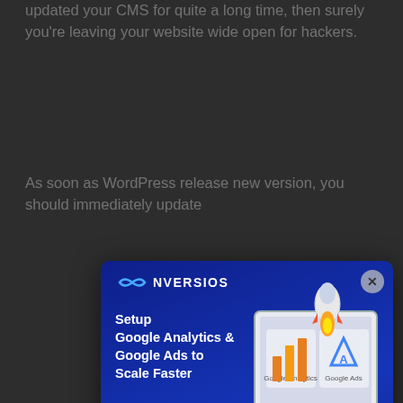updated your CMS for quite a long time, then surely you're leaving your website wide open for hackers.
As soon as WordPress release new version, you should immediately update
[Figure (screenshot): CONVERSIOS advertisement modal overlay: dark blue gradient background with rocket ship graphic, Google Analytics and Google Ads logos on a monitor screen. Text reads 'Setup Google Analytics & Google Ads to Scale Faster' with a 'Try Now >>' button. Close button (x) in top right corner.]
8. Your WordPress theme is not responsive
[Figure (photo): Photo of a person holding a smartphone with an e-commerce/shopping cart interface visible on the screen, bokeh background with warm lights]